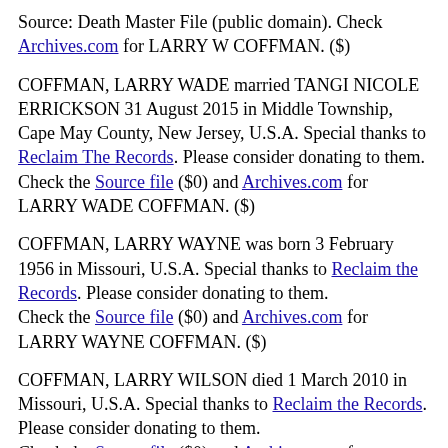Source: Death Master File (public domain). Check Archives.com for LARRY W COFFMAN. ($)
COFFMAN, LARRY WADE married TANGI NICOLE ERRICKSON 31 August 2015 in Middle Township, Cape May County, New Jersey, U.S.A. Special thanks to Reclaim The Records. Please consider donating to them. Check the Source file ($0) and Archives.com for LARRY WADE COFFMAN. ($)
COFFMAN, LARRY WAYNE was born 3 February 1956 in Missouri, U.S.A. Special thanks to Reclaim the Records. Please consider donating to them. Check the Source file ($0) and Archives.com for LARRY WAYNE COFFMAN. ($)
COFFMAN, LARRY WILSON died 1 March 2010 in Missouri, U.S.A. Special thanks to Reclaim the Records. Please consider donating to them. Check the Source file ($0) and Archives.com for